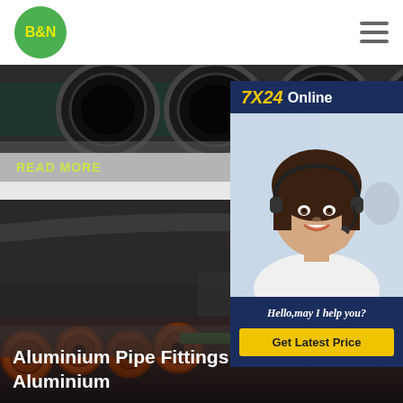[Figure (logo): B&N logo — green circle with yellow bold text]
[Figure (screenshot): Navigation hamburger menu icon (three horizontal lines)]
[Figure (photo): Steel pipes viewed from front end showing circular openings, industrial setting]
READ MORE
[Figure (photo): 7X24 Online customer service chat widget with photo of smiling woman with headset]
Hello,may I help you?
Get Latest Price
[Figure (photo): Stack of steel/aluminium pipes with rust-red ends, industrial warehouse setting]
Aluminium Pipe Fittings Manuafcturers Aluminium